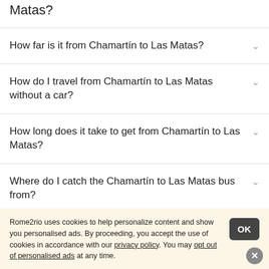Matas?
How far is it from Chamartín to Las Matas?
How do I travel from Chamartín to Las Matas without a car?
How long does it take to get from Chamartín to Las Matas?
Where do I catch the Chamartín to Las Matas bus from?
Rome2rio uses cookies to help personalize content and show you personalised ads. By proceeding, you accept the use of cookies in accordance with our privacy policy. You may opt out of personalised ads at any time.